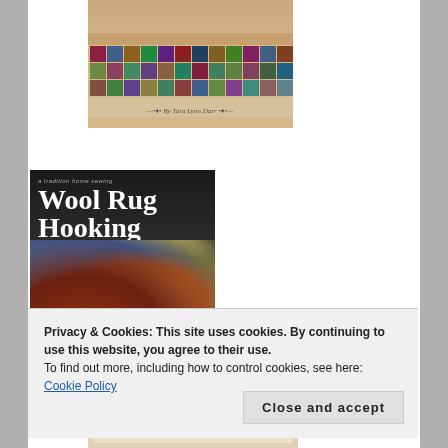[Figure (photo): Top portion of a quilt book cover with colorful quilt pattern and text '—•♦• By Tara Lynn Darr •♦•—']
[Figure (photo): Book cover of 'Wool Rug Hooking: Pillows, Footstools, Rugs' by Tara Darr, showing colorful hooked wool rug with flower designs on dark background]
Privacy & Cookies: This site uses cookies. By continuing to use this website, you agree to their use.
To find out more, including how to control cookies, see here: Cookie Policy
Close and accept
[Figure (photo): Partial view of a book cover titled 'Small Scrap Quilts of Yesteryear']